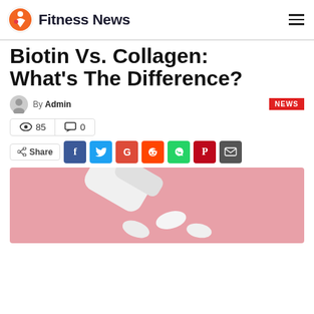Fitness News
Biotin Vs. Collagen: What’s The Difference?
By Admin
85 views  0 comments
Share
[Figure (photo): White supplement pill bottle tipped over on a pink background, pills spilling out]